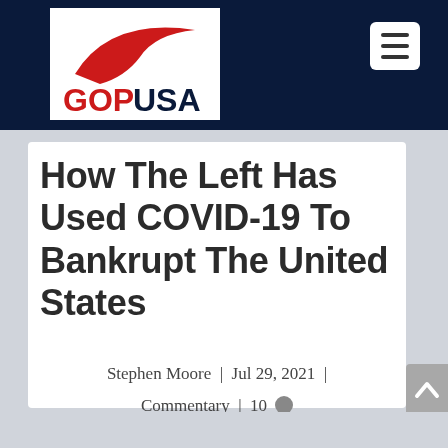GOPUSA
How The Left Has Used COVID-19 To Bankrupt The United States
Stephen Moore | Jul 29, 2021 | Commentary | 10